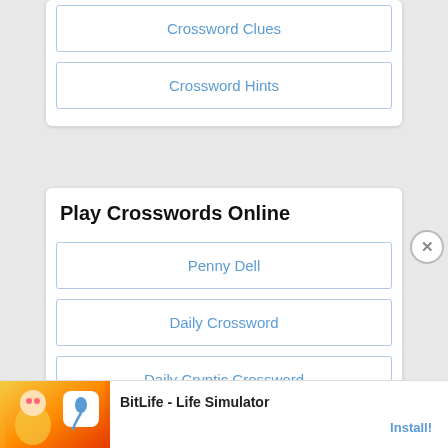Crossword Clues
Crossword Hints
Play Crosswords Online
Penny Dell
Daily Crossword
Daily Cryptic Crossword
Pd Brain Booster
Anagram Crossword
Ad BitLife - Life Simulator Install!